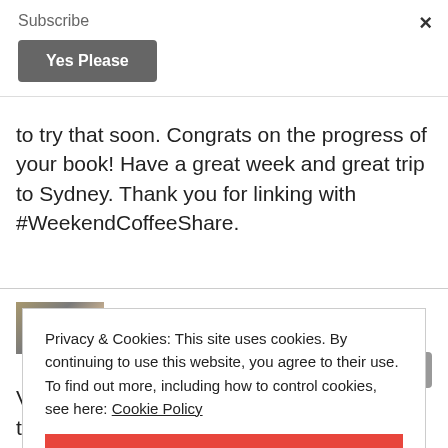Subscribe
Yes Please
to try that soon. Congrats on the progress of your book! Have a great week and great trip to Sydney. Thank you for linking with #WeekendCoffeeShare.
[Figure (photo): Small thumbnail image of a dish or interior scene]
Privacy & Cookies: This site uses cookies. By continuing to use this website, you agree to their use.
To find out more, including how to control cookies, see here: Cookie Policy
CLOSE AND ACCEPT
Vegemite Noodle dish! 🍜 You just can't teach some